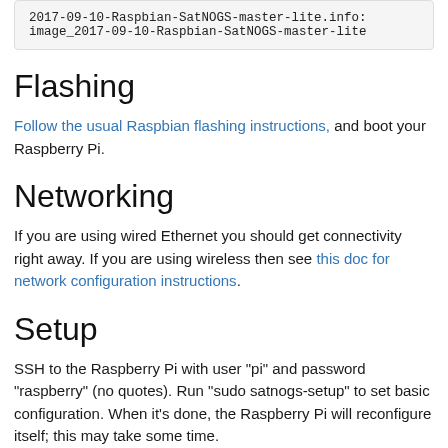[Figure (screenshot): Code block showing filenames: 2017-09-10-Raspbian-SatNOGS-master-lite.info: and image_2017-09-10-Raspbian-SatNOGS-master-lite]
Flashing
Follow the usual Raspbian flashing instructions, and boot your Raspberry Pi.
Networking
If you are using wired Ethernet you should get connectivity right away. If you are using wireless then see this doc for network configuration instructions.
Setup
SSH to the Raspberry Pi with user "pi" and password "raspberry" (no quotes). Run "sudo satnogs-setup" to set basic configuration. When it's done, the Raspberry Pi will reconfigure itself; this may take some time.
Note: you can always reconfigure the software by